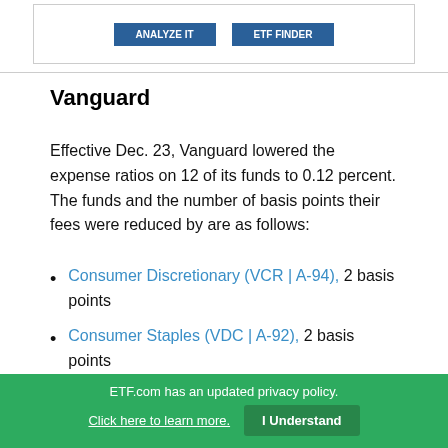[Figure (screenshot): Two blue buttons visible at top of page inside a white bordered box, partially cropped]
Vanguard
Effective Dec. 23, Vanguard lowered the expense ratios on 12 of its funds to 0.12 percent. The funds and the number of basis points their fees were reduced by are as follows:
Consumer Discretionary (VCR | A-94), 2 basis points
Consumer Staples (VDC | A-92), 2 basis points
ETF.com has an updated privacy policy. Click here to learn more. I Understand